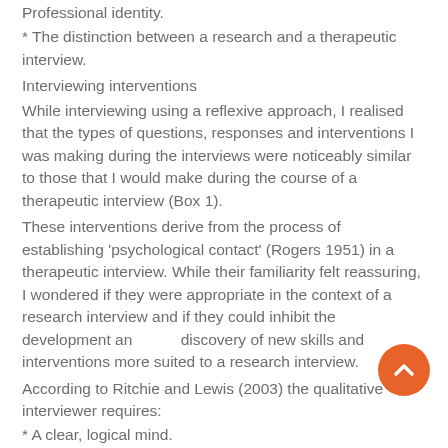* Professional identity.
* The distinction between a research and a therapeutic interview.
Interviewing interventions
While interviewing using a reflexive approach, I realised that the types of questions, responses and interventions I was making during the interviews were noticeably similar to those that I would make during the course of a therapeutic interview (Box 1).
These interventions derive from the process of establishing 'psychological contact' (Rogers 1951) in a therapeutic interview. While their familiarity felt reassuring, I wondered if they were appropriate in the context of a research interview and if they could inhibit the development and discovery of new skills and interventions more suited to a research interview.
According to Ritchie and Lewis (2003) the qualitative interviewer requires:
* A clear, logical mind.